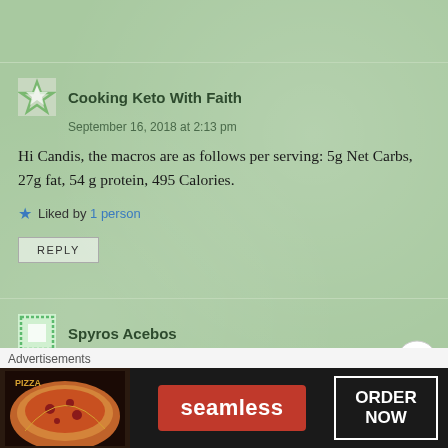Cooking Keto With Faith
September 16, 2018 at 2:13 pm
Hi Candis, the macros are as follows per serving: 5g Net Carbs, 27g fat, 54 g protein, 495 Calories.
Liked by 1 person
REPLY
Spyros Acebos
September 21, 2018 at 10:38 am
Advertisements
[Figure (screenshot): Seamless food ordering advertisement banner with pizza image, seamless logo, and ORDER NOW button]